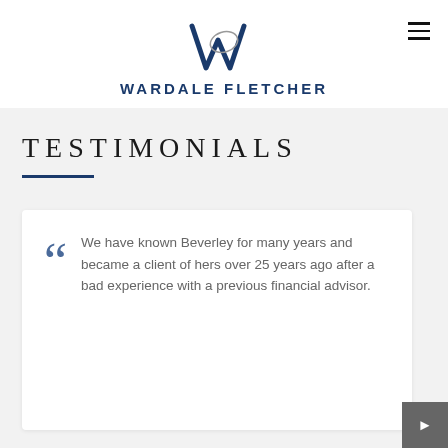[Figure (logo): Wardale Fletcher logo with stylized W and company name in navy blue]
TESTIMONIALS
We have known Beverley for many years and became a client of hers over 25 years ago after a bad experience with a previous financial advisor.